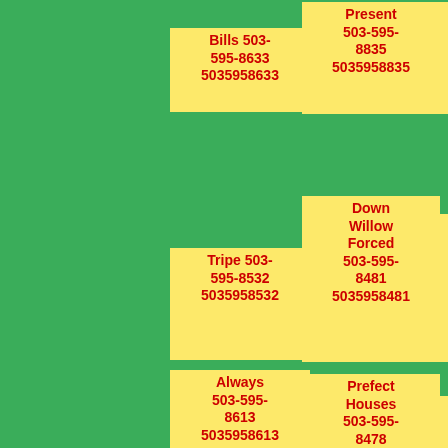Bills 503-595-8633 5035958633
Scowling 503-595-8172 5035958172
Present 503-595-8835 5035958835
Tripe 503-595-8532 5035958532
Whos Sticky Nnot 503-595-8398 5035958398
Down Willow Forced 503-595-8481 5035958481
Always 503-595-8613 5035958613
Sort 503-595-8197 5035958197
Prefect Houses 503-595-8478 5035958478
A Name
Box Puppet Treasure
Others Son